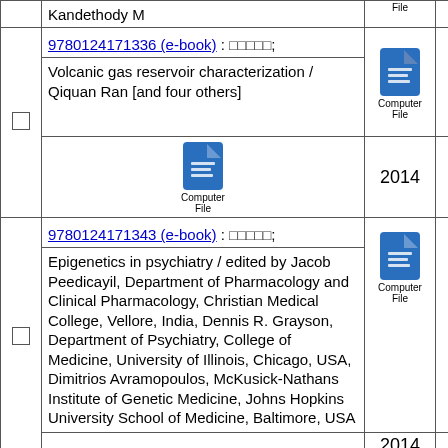|  | Title/ISBN | Format | Year |
| --- | --- | --- | --- |
|  | Kandethody M | Computer File |  |
| ☐ | 9780124171336 (e-book) : [non-latin]; / Volcanic gas reservoir characterization / Qiquan Ran [and four others] | Computer File | 2014 |
| ☐ | 9780124171343 (e-book) : [non-latin]; / Epigenetics in psychiatry / edited by Jacob Peedicayil, Department of Pharmacology and Clinical Pharmacology, Christian Medical College, Vellore, India, Dennis R. Grayson, Department of Psychiatry, College of Medicine, University of Illinois, Chicago, USA, Dimitrios Avramopoulos, McKusick-Nathans Institute of Genetic Medicine, Johns Hopkins University School of Medicine, Baltimore, USA | Computer File | 2014 |
|  | 9780124171367 |  |  |